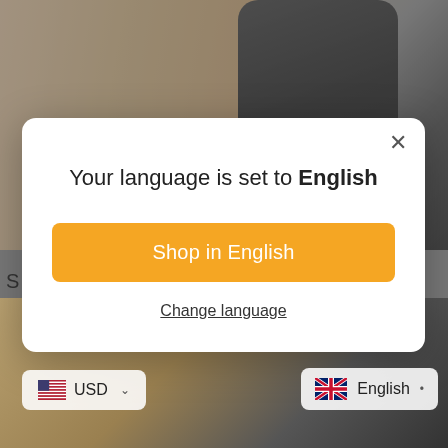[Figure (screenshot): Background screenshot of an e-commerce website showing a dark car charger product on a wooden surface, with a currency selector (USD) and language selector (English with UK flag) at the bottom]
Your language is set to English
Shop in English
Change language